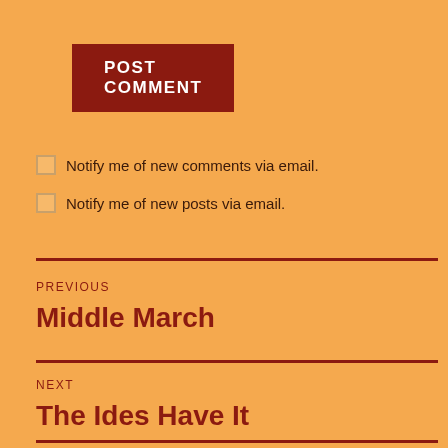POST COMMENT
Notify me of new comments via email.
Notify me of new posts via email.
PREVIOUS
Middle March
NEXT
The Ides Have It